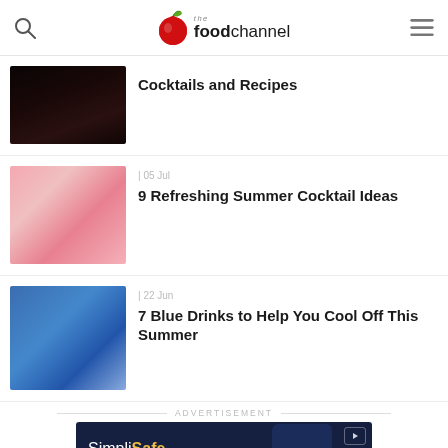the food channel
[Figure (photo): Dark cocktail bar photo thumbnail]
Cocktails and Recipes
[Figure (photo): Pink summer cocktails with mint and berries]
| 05 Jul
9 Refreshing Summer Cocktail Ideas
[Figure (photo): Blue drinks in mason jars with blueberries and lime]
| 22 Jun
7 Blue Drinks to Help You Cool Off This Summer
ADVERTISEMENT
[Figure (screenshot): SimpliSafe advertisement banner]